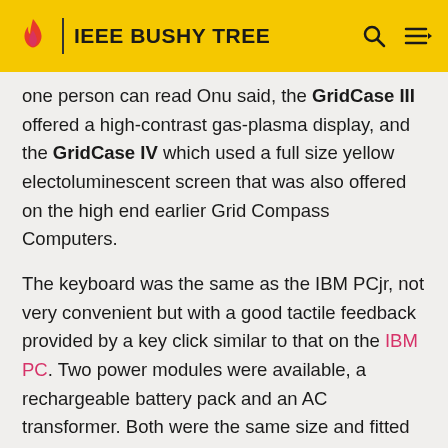IEEE BUSHY TREE
one person can read  Onu said, the GridCase III offered a high-contrast gas-plasma display, and the GridCase IV which used a full size yellow electoluminescent screen that was also offered on the high end earlier Grid Compass Computers.
The keyboard was the same as the IBM PCjr, not very convenient but with a good tactile feedback provided by a key click similar to that on the IBM PC. Two power modules were available, a rechargeable battery pack and an AC transformer. Both were the same size and fitted in a large socket on the rear panel. Each battery pack lasted 4 to 5 hours for the LCD models, and one hour with the plasma model.